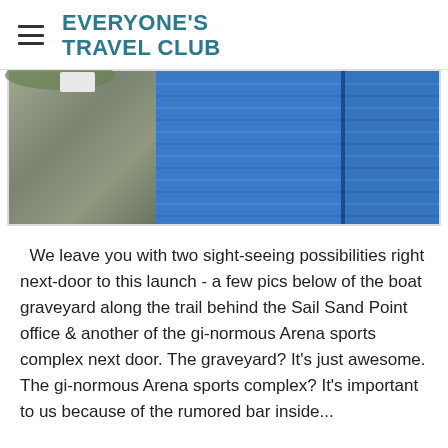EVERYONE'S TRAVEL CLUB
[Figure (photo): Photo strip showing a boat graveyard / grey gravelly area on the left and bright blue wooden siding of the Arena sports complex on the right]
We leave you with two sight-seeing possibilities right next-door to this launch - a few pics below of the boat graveyard along the trail behind the Sail Sand Point office & another of the gi-normous Arena sports complex next door. The graveyard? It's just awesome. The gi-normous Arena sports complex? It's important to us because of the rumored bar inside...